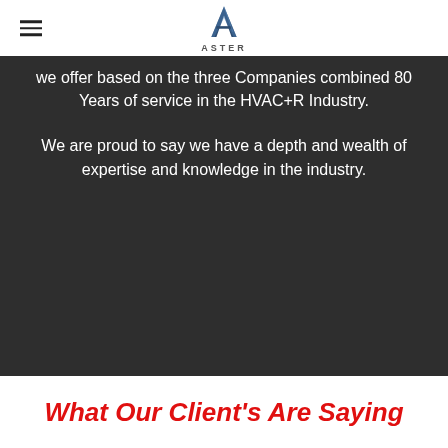ASTER
we offer based on the three Companies combined 80 Years of service in the HVAC+R Industry.
We are proud to say we have a depth and wealth of expertise and knowledge in the industry.
What Our Client's Are Saying